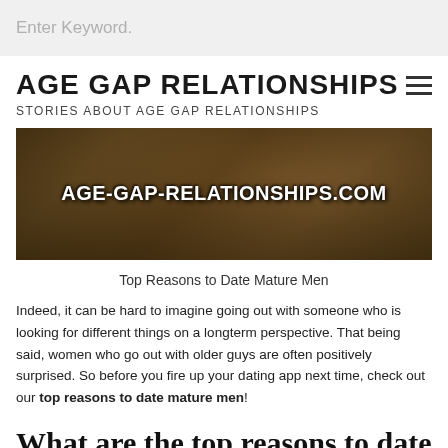Enter Keyword.
AGE GAP RELATIONSHIPS
STORIES ABOUT AGE GAP RELATIONSHIPS
[Figure (photo): Banner image with blurred background of a person with decorative hair accessory, overlaid with bold white text reading AGE-GAP-RELATIONSHIPS.COM]
Top Reasons to Date Mature Men
Indeed, it can be hard to imagine going out with someone who is looking for different things on a longterm perspective. That being said, women who go out with older guys are often positively surprised. So before you fire up your dating app next time, check out our top reasons to date mature men!
What are the top reasons to date